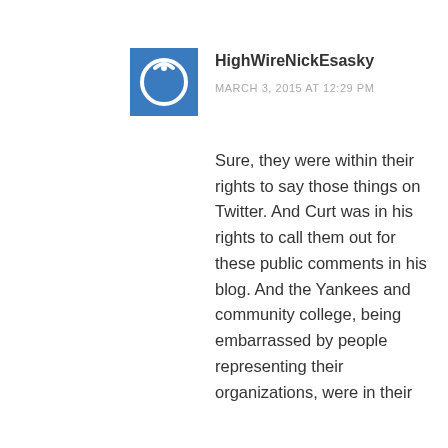[Figure (other): Blue square avatar icon with a power/circle symbol in white]
HighWireNickEsasky
MARCH 3, 2015 AT 12:29 PM
Sure, they were within their rights to say those things on Twitter. And Curt was in his rights to call them out for these public comments in his blog. And the Yankees and community college, being embarrassed by people representing their organizations, were in their